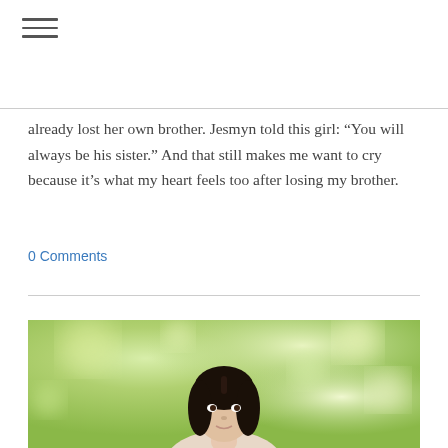already lost her own brother. Jesmyn told this girl: “You will always be his sister.” And that still makes me want to cry because it’s what my heart feels too after losing my brother.
[Figure (other): Tweet button with Twitter bird icon]
0 Comments
[Figure (photo): Portrait photo of a dark-haired woman outdoors with green bokeh background]